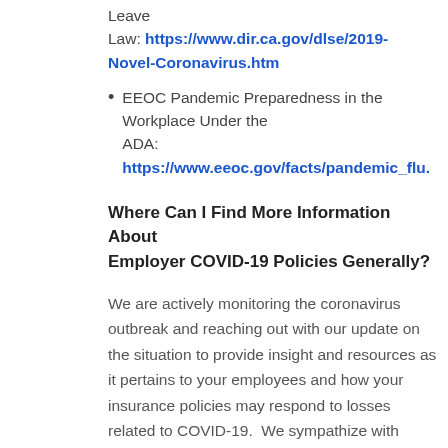Leave Law: https://www.dir.ca.gov/dlse/2019-Novel-Coronavirus.htm
EEOC Pandemic Preparedness in the Workplace Under the ADA: https://www.eeoc.gov/facts/pandemic_flu.
Where Can I Find More Information About Employer COVID-19 Policies Generally?
We are actively monitoring the coronavirus outbreak and reaching out with our update on the situation to provide insight and resources as it pertains to your employees and how your insurance policies may respond to losses related to COVID-19.  We sympathize with